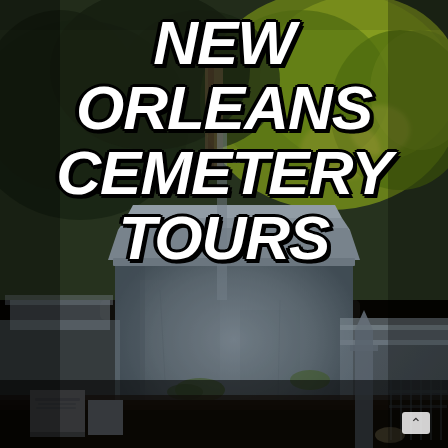[Figure (photo): A New Orleans cemetery scene showing large above-ground stone tombs/mausoleums in a cemetery, with trees (including one with golden/yellow-green foliage) in the background. Smaller headstones visible in the foreground. One small headstone at the bottom left reads 'THELMA HELEN RANGE'. The image has a dark, atmospheric quality with blue-gray tones on the stone monuments.]
NEW ORLEANS CEMETERY TOURS